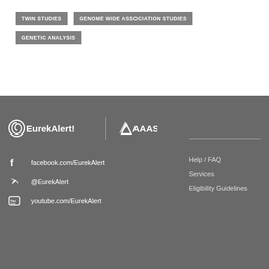TWIN STUDIES
GENOME WIDE ASSOCIATION STUDIES
GENETIC ANALYSIS
[Figure (logo): EurekAlert! logo with spiral icon and AAAS logo separated by vertical divider, white text on gray background]
facebook.com/EurekAlert
@EurekAlert
youtube.com/EurekAlert
Help / FAQ
Services
Eligibility Guidelines